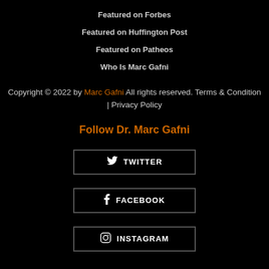Featured on Forbes
Featured on Huffington Post
Featured on Patheos
Who Is Marc Gafni
Copyright © 2022 by Marc Gafni All rights reserved. Terms & Condition | Privacy Policy
Follow Dr. Marc Gafni
TWITTER
FACEBOOK
INSTAGRAM